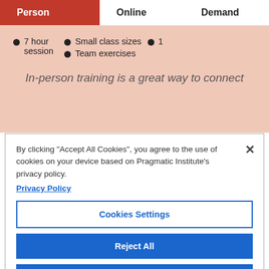Person
Online
Demand
7 hour session
Small class sizes
1
Team exercises
In-person training is a great way to connect
By clicking “Accept All Cookies”, you agree to the use of cookies on your device based on Pragmatic Institute’s privacy policy.
Privacy Policy
Cookies Settings
Reject All
Accept All Cookies